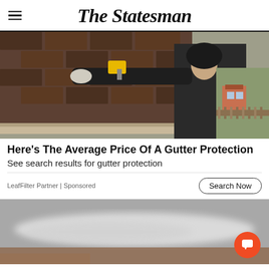The Statesman
[Figure (photo): A person in a black hoodie and work gloves using a power drill on a house roof gutter, with brown shingles and a suburban background]
Here's The Average Price Of A Gutter Protection
See search results for gutter protection
LeafFilter Partner | Sponsored
[Figure (photo): Blurred close-up image of a metallic or light-colored object, partially visible at bottom of page]